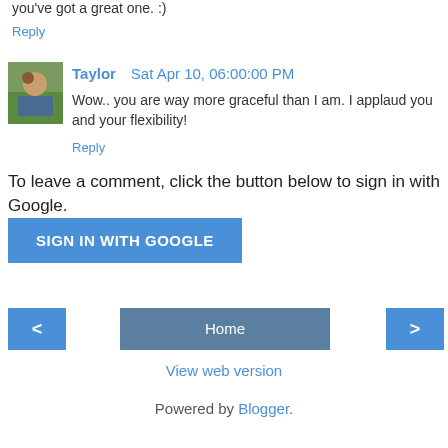you've got a great one. :)
Reply
Taylor  Sat Apr 10, 06:00:00 PM
Wow.. you are way more graceful than I am. I applaud you and your flexibility!
Reply
To leave a comment, click the button below to sign in with Google.
SIGN IN WITH GOOGLE
Home
View web version
Powered by Blogger.